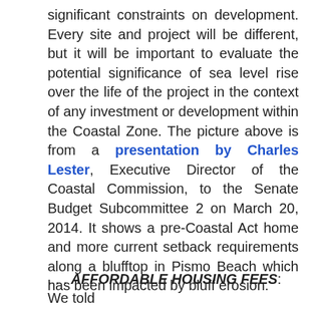significant constraints on development. Every site and project will be different, but it will be important to evaluate the potential significance of sea level rise over the life of the project in the context of any investment or development within the Coastal Zone. The picture above is from a presentation by Charles Lester, Executive Director of the Coastal Commission, to the Senate Budget Subcommittee 2 on March 20, 2014. It shows a pre-Coastal Act home and more current setback requirements along a blufftop in Pismo Beach which has been impacted by bluff erosion.
. . . AFFORDABLE HOUSING FEES: We told